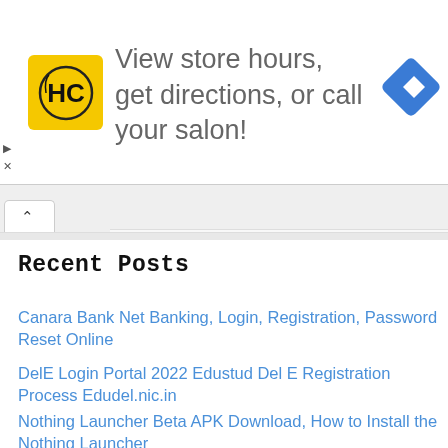[Figure (infographic): Advertisement banner with HC (Hair Club) yellow logo on left, text 'View store hours, get directions, or call your salon!' in gray, and a blue navigation diamond icon on the right. Small play/close controls on the far left.]
[Figure (screenshot): Browser tab bar with a chevron-up caret tab button visible]
Recent Posts
Canara Bank Net Banking, Login, Registration, Password Reset Online
DelE Login Portal 2022 Edustud Del E Registration Process Edudel.nic.in
Nothing Launcher Beta APK Download, How to Install the Nothing Launcher